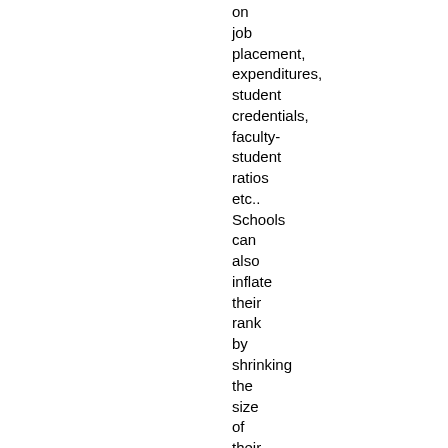on job placement, expenditures, student credentials, faculty-student ratios etc.. Schools can also inflate their rank by shrinking the size of their 1L class (thus improving median credentails), and taking more transfers